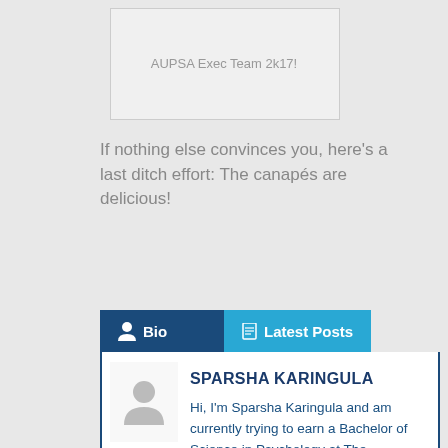[Figure (photo): AUPSA Exec Team 2k17 photo placeholder/image box]
AUPSA Exec Team 2k17!
If nothing else convinces you, here’s a last ditch effort: The canapés are delicious!
Bio | Latest Posts
SPARSHA KARINGULA
Hi, I'm Sparsha Karingula and am currently trying to earn a Bachelor of Science in Psychology at The University of Auckland! I love to read, write and take photos of the sky.